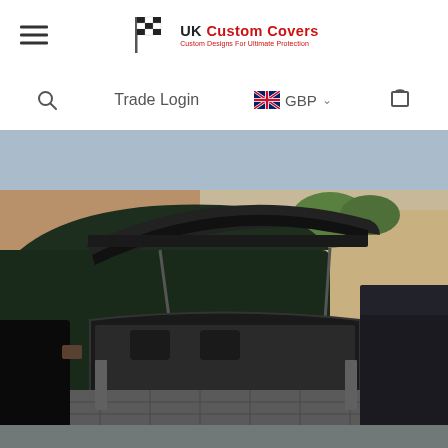UK Custom Covers - Custom Designs For Ultimate Protection
Trade Login  GBP
[Figure (photo): An SUV (Range Rover Sport) with its tailgate fully open, revealing a quilted grey boot liner protecting the cargo area floor and sides. The car is parked outside in a car park with brick buildings and other vehicles visible in the background.]